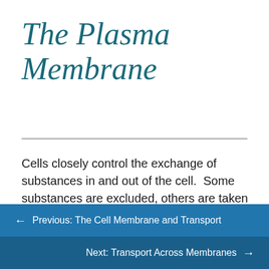The Plasma Membrane
Cells closely control the exchange of substances in and out of the cell.  Some substances are excluded, others are taken in, and still others are excreted – all in controlled quantities. Although the plasma membrane encloses the [scroll button] borders, it is far from being a static barrier; it is dynamic and constantly in
← Previous: The Cell Membrane and Transport
Next: Transport Across Membranes →